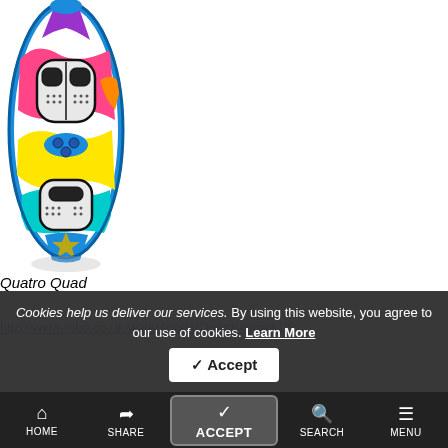[Figure (photo): Photo of a Quatro Quad kiteboard with colorful graphics, viewed from above showing the top deck with traction pads and fin placement]
Quatro Quad
http://www.robo.co.uk/watersports/Quatro-Quad-LS
Cookies help us deliver our services. By using this website, you agree to our use of cookies. Learn More
Accept
HOME  SHARE  SEARCH  MENU